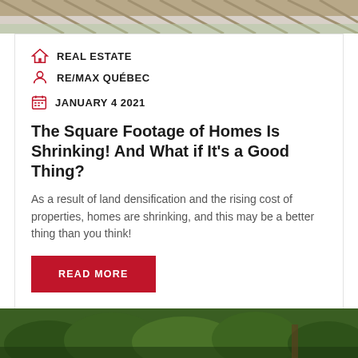[Figure (photo): Top portion of a house with roof and exterior details visible, cropped at top of page]
REAL ESTATE
RE/MAX QUÉBEC
JANUARY 4 2021
The Square Footage of Homes Is Shrinking! And What if It's a Good Thing?
As a result of land densification and the rising cost of properties, homes are shrinking, and this may be a better thing than you think!
READ MORE
[Figure (photo): Green evergreen trees and foliage, bottom of page]